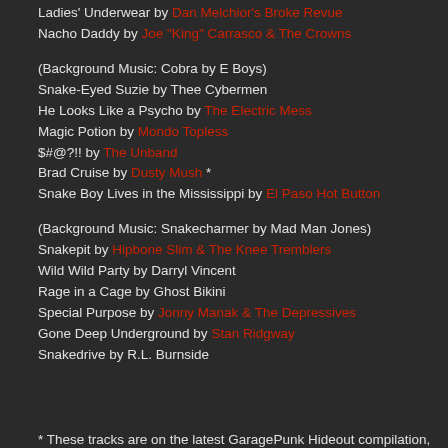Ladies' Underwear by Dan Melchior's Broke Revue
Nacho Daddy by Joe "King" Carrasco & The Crowns
(Background Music: Cobra by E Boys)
Snake-Eyed Suzie by Thee Cybermen
He Looks Like a Psycho by The Electric Mess
Magic Potion by Mondo Topless
$#@?!! by The Unband
Brad Cruise by Dusty Mush *
Snake Boy Lives in the Mississippi by El Paso Hot Button
(Background Music: Snakecharmer by Mad Man Jones)
Snakepit by Hipbone Slim & The Knee Tremblers
Wild Wild Party by Darryl Vincent
Rage in a Cage by Ghost Bikini
Special Purpose by Jonny Manak & The Depressives
Gone Deep Underground by Stan Ridgway
Snakedrive by R.L. Burnside
* These tracks are on the latest GaragePunk Hideout compilation, Super
Play it here: